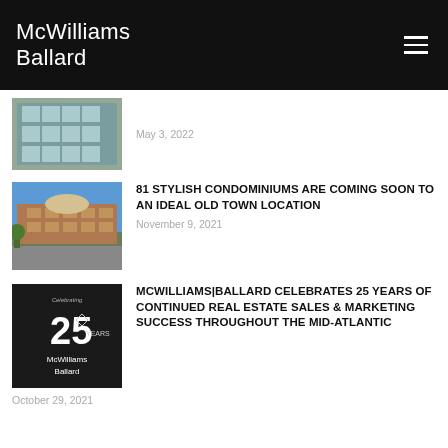McWilliams Ballard
[Figure (photo): Partial view of a building with glass facade]
May 3, 2022
81 STYLISH CONDOMINIUMS ARE COMING SOON TO AN IDEAL OLD TOWN LOCATION
November 9, 2021
MCWILLIAMS|BALLARD CELEBRATES 25 YEARS OF CONTINUED REAL ESTATE SALES & MARKETING SUCCESS THROUGHOUT THE MID-ATLANTIC
October 29, 2021